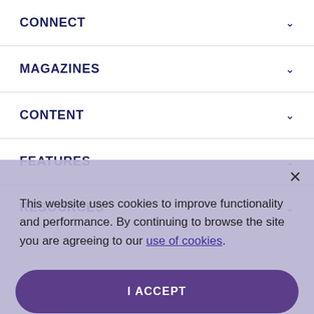CONNECT
MAGAZINES
CONTENT
FEATURES
RESOURCES
This website uses cookies to improve functionality and performance. By continuing to browse the site you are agreeing to our use of cookies.
I ACCEPT